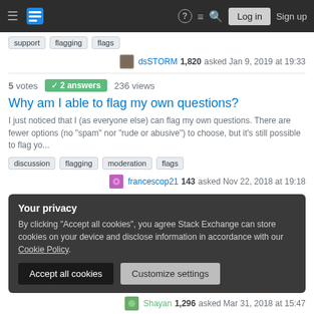Stack Exchange navigation bar with hamburger menu, logo, help, chat, search icons, Log in and Sign up buttons
Tags: support, flagging, flags
dsSTORM 1,820 asked Jan 9, 2019 at 19:33
5 votes  2 answers  236 views
Why am I able to flag my own questions?
I just noticed that I (as everyone else) can flag my own questions. There are fewer options (no "spam" nor "rude or abusive") to choose, but it's still possible to flag yo...
Tags: discussion, flagging, moderation, flags
francescop21 143 asked Nov 22, 2018 at 19:18
Your privacy
By clicking "Accept all cookies", you agree Stack Exchange can store cookies on your device and disclose information in accordance with our Cookie Policy.
Accept all cookies   Customize settings
Shayan 1,296 asked Mar 31, 2018 at 15:47